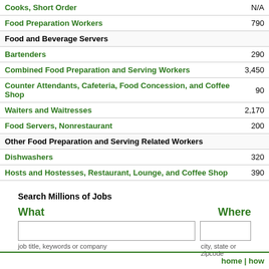| Occupation | Employment |
| --- | --- |
| Cooks, Short Order | N/A |
| Food Preparation Workers | 790 |
| Food and Beverage Servers |  |
| Bartenders | 290 |
| Combined Food Preparation and Serving Workers | 3,450 |
| Counter Attendants, Cafeteria, Food Concession, and Coffee Shop | 90 |
| Waiters and Waitresses | 2,170 |
| Food Servers, Nonrestaurant | 200 |
| Other Food Preparation and Serving Related Workers |  |
| Dishwashers | 320 |
| Hosts and Hostesses, Restaurant, Lounge, and Coffee Shop | 390 |
Search Millions of Jobs
What
Where
job title, keywords or company
city, state or zipcode
home | how